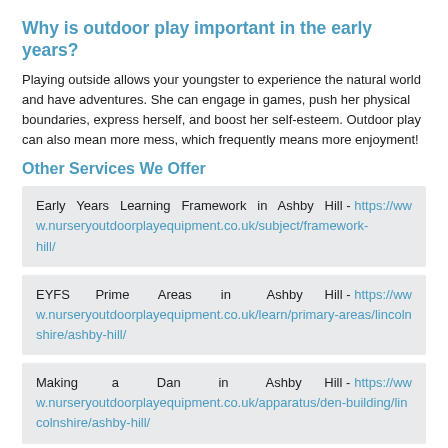Why is outdoor play important in the early years?
Playing outside allows your youngster to experience the natural world and have adventures. She can engage in games, push her physical boundaries, express herself, and boost her self-esteem. Outdoor play can also mean more mess, which frequently means more enjoyment!
Other Services We Offer
Early Years Learning Framework in Ashby Hill - https://www.nurseryoutdoorplayequipment.co.uk/subject/framework...hill/
EYFS Prime Areas in Ashby Hill - https://www.nurseryoutdoorplayequipment.co.uk/learn/primary-areas/lincolnshire/ashby-hill/
Making a Dan in Ashby Hill - https://www.nurseryoutdoorplayequipment.co.uk/apparatus/den-building/lincolnshire/ashby-hill/